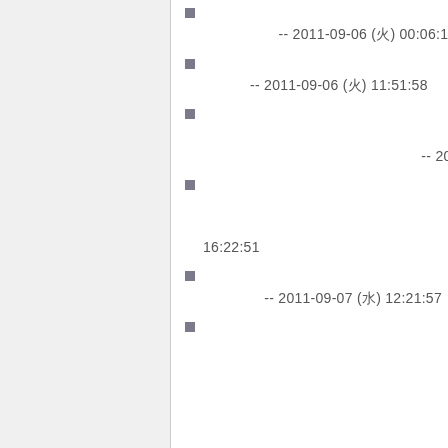〓〓〓〓〓〓〓〓〓〓〓〓〓〓〓〓〓〓〓〓〓〓〓〓 -- 2011-09-06 (火) 00:06:16
〓〓〓〓〓〓〓〓〓〓〓〓〓〓〓〓〓〓〓〓〓 -- 2011-09-06 (火) 11:51:58
〓〓〓〓〓〓〓〓〓〓〓〓〓〓〓〓〓〓〓〓〓〓〓〓〓〓〓〓〓〓〓〓〓〓〓〓〓〓〓〓〓〓〓〓〓〓〓〓 -- 2011-09-06 (火) 14:38:11
〓〓〓〓〓〓〓〓〓〓〓〓〓〓〓〓〓〓〓〓〓〓〓〓〓〓〓〓〓〓〓〓〓〓〓〓〓〓〓〓〓〓〓〓〓〓〓〓 -- 2011-09-06 (火) 16:22:51
〓〓〓〓〓〓〓〓〓〓〓〓〓〓〓〓〓〓〓〓〓〓〓 -- 2011-09-07 (水) 12:21:57
〓〓〓〓〓〓〓〓〓〓〓〓〓〓〓〓〓〓〓〓〓〓〓